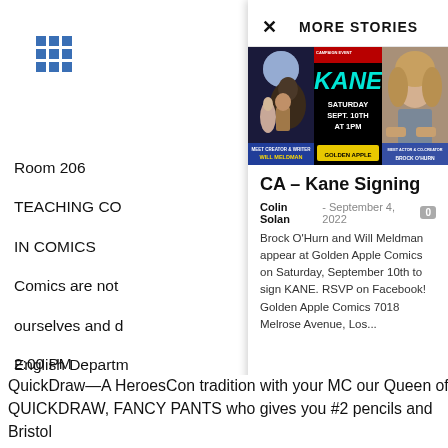[Figure (other): 3x3 grid icon in blue]
Room 206
TEACHING CO
IN COMICS
Comics are not
ourselves and d
English Departm
of MFA Visual M
the table as we
to show social is
Moderated by th
DAUGHHETEE
MORE STORIES
[Figure (photo): Kane comic signing event promotional image showing three panels: left - fantasy comic art with 'MEET CREATOR & WRITER WILL MELDMAN', center - black background with 'CAMPAIGN EVENT KANE SATURDAY SEPT. 10TH AT 1PM GOLDEN APPLE', right - photo of actor with 'MEET ACTOR & CO-CREATOR BROCK O'HURN']
CA – Kane Signing
Colin Solan - September 4, 2022
Brock O'Hurn and Will Meldman appear at Golden Apple Comics on Saturday, September 10th to sign KANE. RSVP on Facebook! Golden Apple Comics 7018 Melrose Avenue, Los...
2:00 PM
Room 203B
QuickDraw—A HeroesCon tradition with your MC our Queen of QUICKDRAW, FANCY PANTS who gives you #2 pencils and Bristol